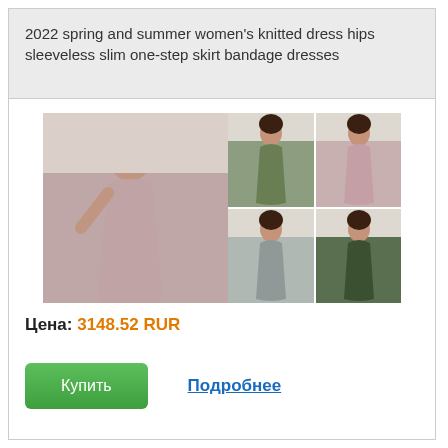2022 spring and summer women's knitted dress hips sleeveless slim one-step skirt bandage dresses
[Figure (photo): Product photo collage showing women modeling a knitted bodycon dress in four color variants: mauve/pink (large left image), olive green (top right), mauve (middle right), light grey (bottom left small), dark green (bottom right small)]
Цена: 3148.52 RUR
Купить
Подробнее